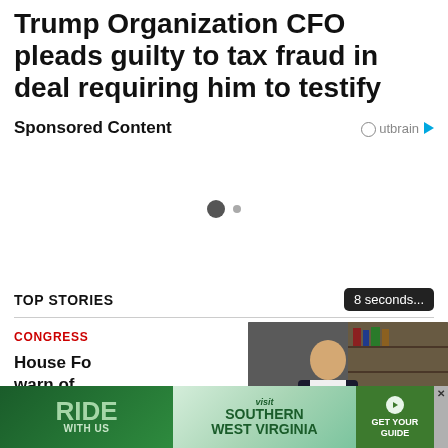Trump Organization CFO pleads guilty to tax fraud in deal requiring him to testify
Sponsored Content
[Figure (other): Outbrain sponsored content logo with circular icon and play button]
[Figure (other): Carousel navigation dots — one large dark dot and one small gray dot]
TOP STORIES
[Figure (screenshot): Video overlay showing a man in a dark suit with glasses in front of a bookshelf, with playback controls at the bottom including pause, back, settings, and fullscreen icons, and Just the News logo. Counter shows '8 seconds...']
CONGRESS
House Fo... warn of ... S...
[Figure (photo): Advertisement banner: Ride With Us / Visit Southern West Virginia / Get Your Guide]